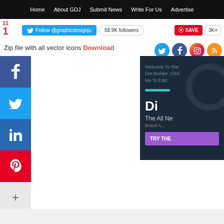Home | About GDJ | Submit News | Write For Us | Advertise
11 / 1  Follow @graphicdesignju  58.9K followers  SAVE  3K+
Zip file with all vector icons Download
[Figure (screenshot): Social share buttons on the left side: Facebook (blue), Twitter (light blue), LinkedIn (dark blue), Pinterest (red), More (+) (gray). Social icons row on the right: Twitter, Facebook, Instagram, RSS circles. Right side ad panel showing Divi Builder advertisement with dark background, teal bar, purple CTA button saying TRY THE.]